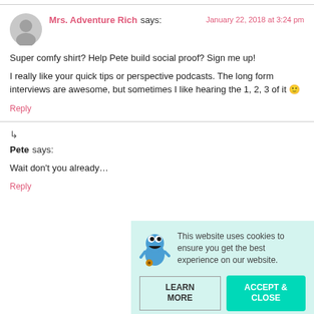Mrs. Adventure Rich says: January 22, 2018 at 3:24 pm
Super comfy shirt? Help Pete build social proof? Sign me up!
I really like your quick tips or perspective podcasts. The long form interviews are awesome, but sometimes I like hearing the 1, 2, 3 of it 🙂
Reply
Pete says:
Wait don't you already…
Reply
This website uses cookies to ensure you get the best experience on our website. LEARN MORE  ACCEPT & CLOSE